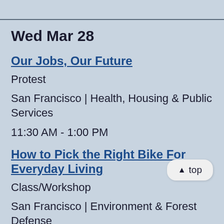Wed Mar 28
Our Jobs, Our Future
Protest
San Francisco | Health, Housing & Public Services
11:30 AM - 1:00 PM
How to Pick the Right Bike For Everyday Living
Class/Workshop
San Francisco | Environment & Forest Defense